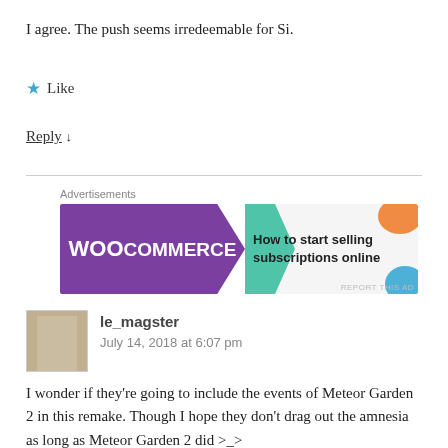I agree. The push seems irredeemable for Si.
★ Like
Reply ↓
[Figure (other): WooCommerce advertisement banner: purple left side with WooCommerce logo and teal arrow, light right side with text 'How to start selling subscriptions online' and orange/blue decorative shapes. 'REPORT THIS AD' in small text bottom right.]
le_magster
July 14, 2018 at 6:07 pm
I wonder if they're going to include the events of Meteor Garden 2 in this remake. Though I hope they don't drag out the amnesia as long as Meteor Garden 2 did >_>